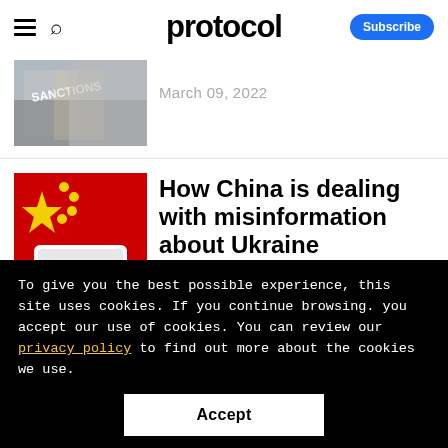protocol — Subscribe
[Figure (photo): Photo of protest with SANCTIONS sign held up in front of a building]
March 09, 2022
[Figure (photo): Chinese flag with a smartphone overlay]
How China is dealing with misinformation about Ukraine
To give you the best possible experience, this site uses cookies. If you continue browsing. you accept our use of cookies. You can review our privacy policy to find out more about the cookies we use.
Accept